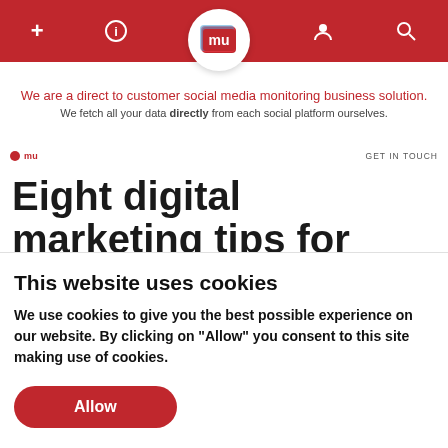[Figure (screenshot): Red navigation bar with white icons: plus, info, mu logo circle, person, search]
We are a direct to customer social media monitoring business solution.
We fetch all your data directly from each social platform ourselves.
mu | GET IN TOUCH
Eight digital marketing tips for small businesses
This website uses cookies
We use cookies to give you the best possible experience on our website. By clicking on "Allow" you consent to this site making use of cookies.
Allow